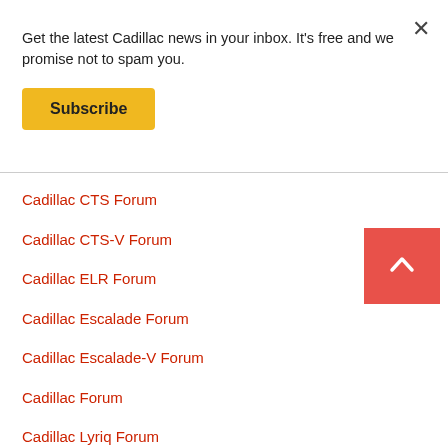Get the latest Cadillac news in your inbox. It's free and we promise not to spam you.
Subscribe
Cadillac CTS Forum
Cadillac CTS-V Forum
Cadillac ELR Forum
Cadillac Escalade Forum
Cadillac Escalade-V Forum
Cadillac Forum
Cadillac Lyriq Forum
Cadillac SRX Forum